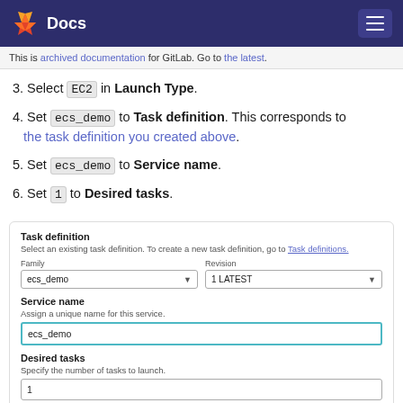Docs
This is archived documentation for GitLab. Go to the latest.
3. Select EC2 in Launch Type.
4. Set ecs_demo to Task definition. This corresponds to the task definition you created above.
5. Set ecs_demo to Service name.
6. Set 1 to Desired tasks.
[Figure (screenshot): AWS console form showing Task definition section with Family dropdown set to ecs_demo and Revision dropdown set to 1 LATEST, Service name field with ecs_demo entered (highlighted with teal border), and Desired tasks field with value 1.]